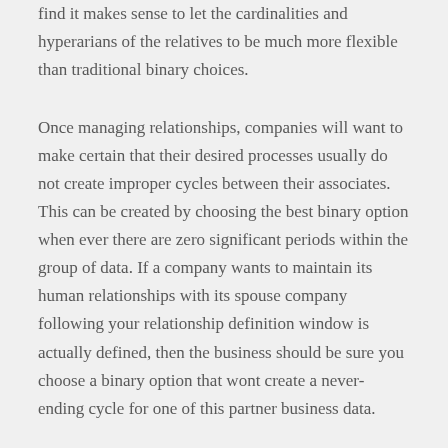find it makes sense to let the cardinalities and hyperarians of the relatives to be much more flexible than traditional binary choices.
Once managing relationships, companies will want to make certain that their desired processes usually do not create improper cycles between their associates. This can be created by choosing the best binary option when ever there are zero significant periods within the group of data. If a company wants to maintain its human relationships with its spouse company following your relationship definition window is actually defined, then the business should be sure you choose a binary option that wont create a never-ending cycle for one of this partner business data.
Oftentimes, the cardinality and hyperarity of